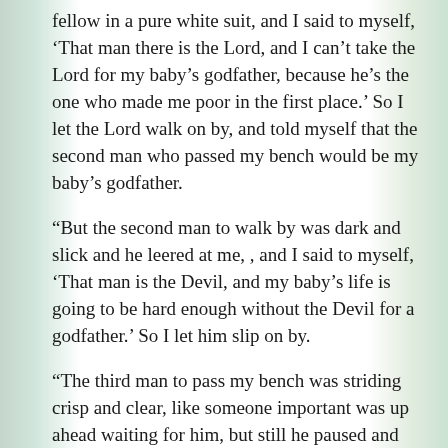fellow in a pure white suit, and I said to myself, 'That man there is the Lord, and I can't take the Lord for my baby's godfather, because he's the one who made me poor in the first place.' So I let the Lord walk on by, and told myself that the second man who passed my bench would be my baby's godfather.
“But the second man to walk by was dark and slick and he leered at me, , and I said to myself, ‘That man is the Devil, and my baby’s life is going to be hard enough without the Devil for a godfather.’ So I let him slip on by.
“The third man to pass my bench was striding crisp and clear, like someone important was up ahead waiting for him, but still he paused and tipped his hat to me, and said ‘Good morning, ma’am’ like I was a lady as grand as the important Somebody he